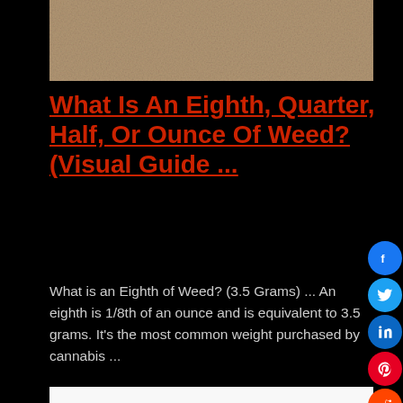[Figure (photo): Top cropped image with brownish/sandy texture background]
What Is An Eighth, Quarter, Half, Or Ounce Of Weed? (Visual Guide ...
What is an Eighth of Weed? (3.5 Grams) ... An eighth is 1/8th of an ounce and is equivalent to 3.5 grams. It’s the most common weight purchased by cannabis ...
[Figure (photo): Photo of a colorful purple and pink patterned lighter next to cannabis buds on white background]